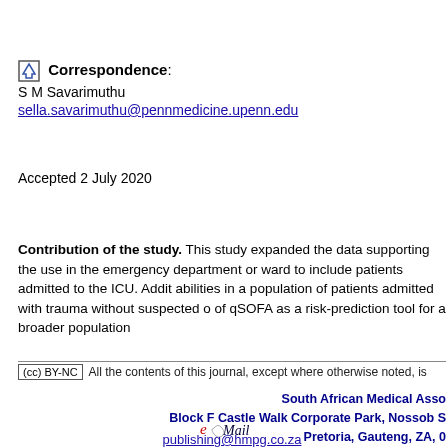Correspondence: S M Savarimuthu sella.savarimuthu@pennmedicine.upenn.edu
Accepted 2 July 2020
Contribution of the study. This study expanded the data supporting the use in the emergency department or ward to include patients admitted to the ICU. Additionally it tested abilities in a population of patients admitted with trauma without suspected or of qSOFA as a risk-prediction tool for a broader population
All the contents of this journal, except where otherwise noted, is
South African Medical Asso Block F Castle Walk Corporate Park, Nossob S Pretoria, Gauteng, ZA, 0 Tel: +27 12 481 2069, Tel: +27 2
publishing@hmpg.co.za